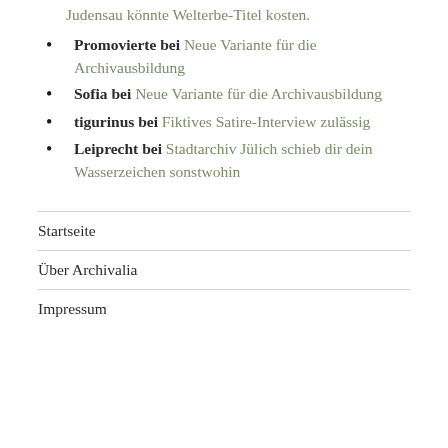Judensau könnte Welterbe-Titel kosten.
Promovierte bei Neue Variante für die Archivausbildung
Sofia bei Neue Variante für die Archivausbildung
tigurinus bei Fiktives Satire-Interview zulässig
Leiprecht bei Stadtarchiv Jülich schieb dir dein Wasserzeichen sonstwohin
Startseite
Über Archivalia
Impressum